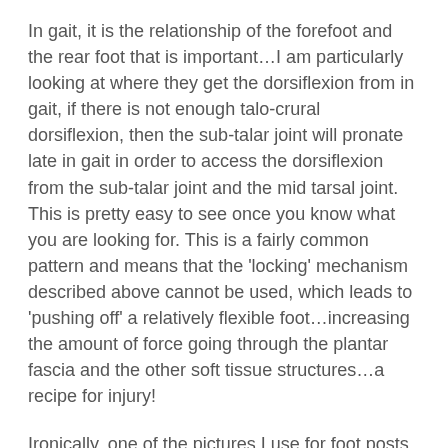In gait, it is the relationship of the forefoot and the rear foot that is important…I am particularly looking at where they get the dorsiflexion from in gait, if there is not enough talo-crural dorsiflexion, then the sub-talar joint will pronate late in gait in order to access the dorsiflexion from the sub-talar joint and the mid tarsal joint. This is pretty easy to see once you know what you are looking for. This is a fairly common pattern and means that the 'locking' mechanism described above cannot be used, which leads to 'pushing off' a relatively flexible foot…increasing the amount of force going through the plantar fascia and the other soft tissue structures…a recipe for injury!
Ironically, one of the pictures I use for foot posts shows a person walking on a beach, they are definitely lacking dorsiflexion, pronating late in the gait cycle and have unlocked their MTJ…see below!!
Off weight bearing I will do a simple test, checking mid-